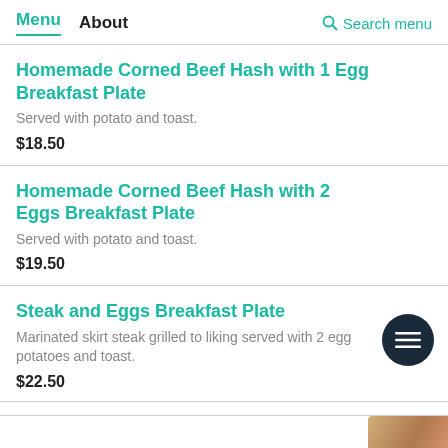Menu  About  Search menu
Homemade Corned Beef Hash with 1 Egg Breakfast Plate
Served with potato and toast.
$18.50
Homemade Corned Beef Hash with 2 Eggs Breakfast Plate
Served with potato and toast.
$19.50
Steak and Eggs Breakfast Plate
Marinated skirt steak grilled to liking served with 2 eggs potatoes and toast.
$22.50